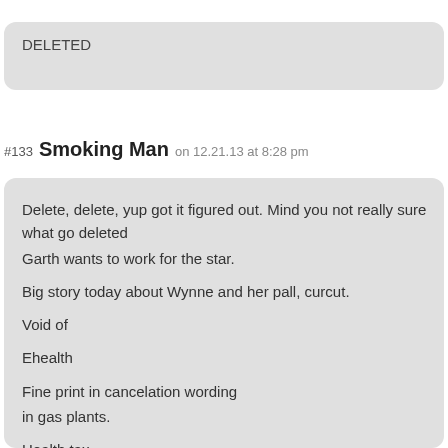DELETED
#133  Smoking Man  on 12.21.13 at 8:28 pm
Delete, delete, yup got it figured out. Mind you not really sure what go deleted
Garth wants to work for the star.

Big story today about Wynne and her pall, curcut.

Void of

Ehealth

Fine print in cancelation wording
in gas plants.

Health tax.

Wind farms